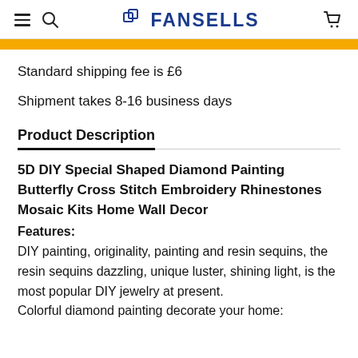FANSELLS
Standard shipping fee is £6
Shipment takes 8-16 business days
Product Description
5D DIY Special Shaped Diamond Painting Butterfly Cross Stitch Embroidery Rhinestones Mosaic Kits Home Wall Decor
Features:
DIY painting, originality, painting and resin sequins, the resin sequins dazzling, unique luster, shining light, is the most popular DIY jewelry at present.
Colorful diamond painting decorate your home: